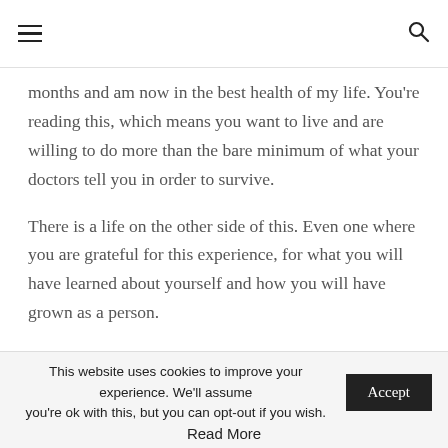≡  🔍
months and am now in the best health of my life. You're reading this, which means you want to live and are willing to do more than the bare minimum of what your doctors tell you in order to survive.
There is a life on the other side of this. Even one where you are grateful for this experience, for what you will have learned about yourself and how you will have grown as a person.
I now believe that cancer is a messenger sending a message from your body that something is not right
This website uses cookies to improve your experience. We'll assume you're ok with this, but you can opt-out if you wish.
Read More